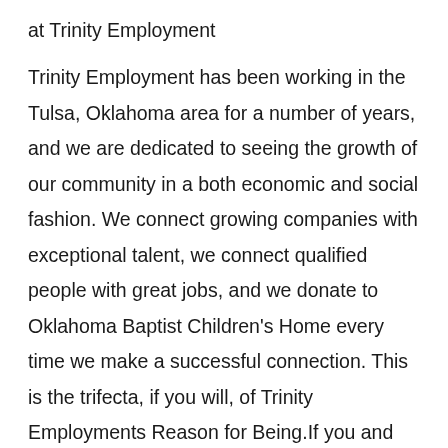at Trinity Employment
Trinity Employment has been working in the Tulsa, Oklahoma area for a number of years, and we are dedicated to seeing the growth of our community in a both economic and social fashion. We connect growing companies with exceptional talent, we connect qualified people with great jobs, and we donate to Oklahoma Baptist Children's Home every time we make a successful connection. This is the trifecta, if you will, of Trinity Employments Reason for Being.If you and become a part of a great culture and learn how to find the very best employment